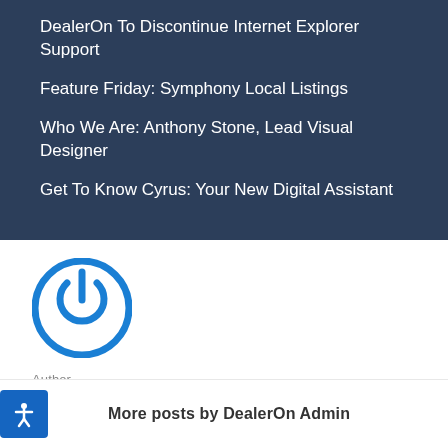DealerOn To Discontinue Internet Explorer Support
Feature Friday: Symphony Local Listings
Who We Are: Anthony Stone, Lead Visual Designer
Get To Know Cyrus: Your New Digital Assistant
[Figure (logo): DealerOn circular power button logo in blue]
Author
DealerOn Admin
More posts by DealerOn Admin